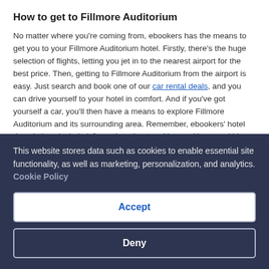How to get to Fillmore Auditorium
No matter where you're coming from, ebookers has the means to get you to your Fillmore Auditorium hotel. Firstly, there's the huge selection of flights, letting you jet in to the nearest airport for the best price. Then, getting to Fillmore Auditorium from the airport is easy. Just search and book one of our car rental deals, and you can drive yourself to your hotel in comfort. And if you've got yourself a car, you'll then have a means to explore Fillmore Auditorium and its surrounding area. Remember, ebookers' hotel descriptions include information about parking, so it's a good idea to check this before you set off from the airport.
What to do in Fillmore Auditorium
This website stores data such as cookies to enable essential site functionality, as well as marketing, personalization, and analytics. Cookie Policy
Accept
Deny